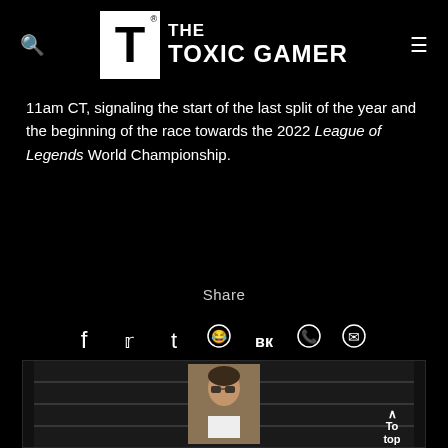THE TOXIC GAMER
11am CT, signaling the start of the last split of the year and the beginning of the race towards the 2022 League of Legends World Championship.
Share
[Figure (illustration): Social media share icons: Facebook (f), Twitter (bird), Tumblr (t), Reddit (alien), VK (vk), WhatsApp (phone), Messenger (chat)]
[Figure (photo): Author card section with a small portrait photo of a person wearing sunglasses, with brick wall background. To top button in bottom right corner.]